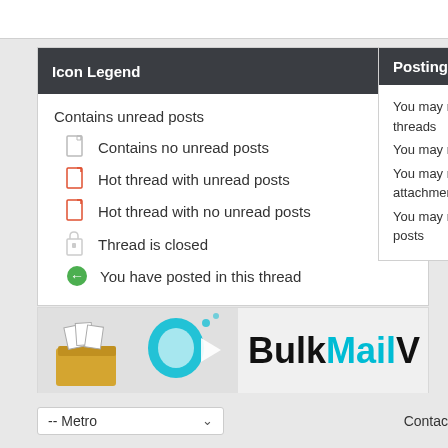Icon Legend
Contains unread posts
Contains no unread posts
Hot thread with unread posts
Hot thread with no unread posts
Thread is closed
You have posted in this thread
Posting Per...
You may no threads
You may no
You may no attachment
You may no posts
[Figure (logo): BulkMailV logo banner with mail icons]
-- Metro
Contac...